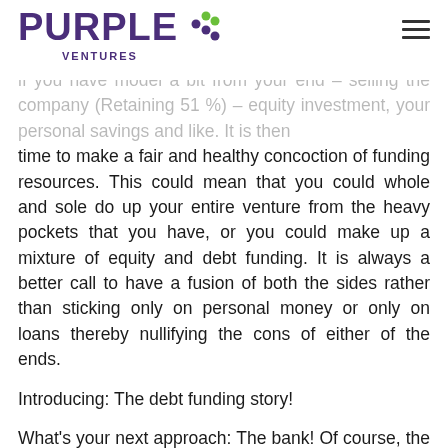PURPLE VENTURES
if you have model a bit from your end – selling the company (Retaining 51 %) – equity investment, your personal savings and like. It is then time to make a fair and healthy concoction of funding resources. This could mean that you could whole and sole do up your entire venture from the heavy pockets that you have, or you could make up a mixture of equity and debt funding. It is always a better call to have a fusion of both the sides rather than sticking only on personal money or only on loans thereby nullifying the cons of either of the ends.
Introducing: The debt funding story!
What's your next approach: The bank! Of course, the bank becomes your temple and the creditor your new god! What's next? There is more accountability and responsibility as you have been entrusted with money from an external source and thus you might have to